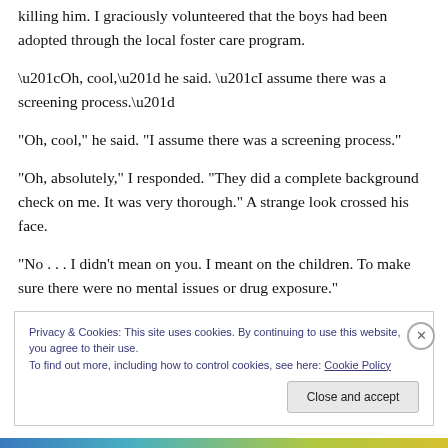killing him. I graciously volunteered that the boys had been adopted through the local foster care program.
“Oh, cool,” he said. “I assume there was a screening process.”
“Oh, absolutely,” I responded. “They did a complete background check on me. It was very thorough.” A strange look crossed his face.
“No . . . I didn’t mean on you. I meant on the children. To make sure there were no mental issues or drug exposure.”
Privacy & Cookies: This site uses cookies. By continuing to use this website, you agree to their use.
To find out more, including how to control cookies, see here: Cookie Policy